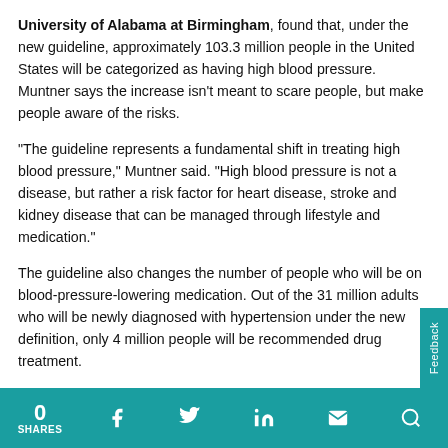University of Alabama at Birmingham, found that, under the new guideline, approximately 103.3 million people in the United States will be categorized as having high blood pressure. Muntner says the increase isn't meant to scare people, but make people aware of the risks.
“The guideline represents a fundamental shift in treating high blood pressure,” Muntner said. “High blood pressure is not a disease, but rather a risk factor for heart disease, stroke and kidney disease that can be managed through lifestyle and medication.”
The guideline also changes the number of people who will be on blood-pressure-lowering medication. Out of the 31 million adults who will be newly diagnosed with hypertension under the new definition, only 4 million people will be recommended drug treatment.
“The big focus on this guideline is non-drug treatment,” Muntner said. “The majority of people who are newly diagnosed as having high blood pressure won’t be
0 SHARES | Facebook | Twitter | LinkedIn | Email | Search | Feedback